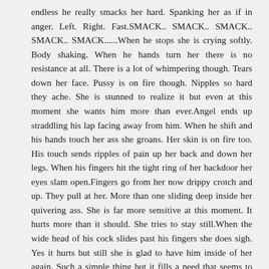endless he really smacks her hard. Spanking her as if in anger. Left. Right. Fast.SMACK.. SMACK.. SMACK.. SMACK.. SMACK......When he stops she is crying softly. Body shaking. When he hands turn her there is no resistance at all. There is a lot of whimpering though. Tears down her face. Pussy is on fire though. Nipples so hard they ache. She is stunned to realize it but even at this moment she wants him more than ever.Angel ends up straddling his lap facing away from him. When he shift and his hands touch her ass she groans. Her skin is on fire too. His touch sends ripples of pain up her back and down her legs. When his fingers hit the tight ring of her backdoor her eyes slam open.Fingers go from her now drippy crotch and up. They pull at her. More than one sliding deep inside her quivering ass. She is far more sensitive at this moment. It hurts more than it should. She tries to stay still.When the wide head of his cock slides past his fingers she does sigh. Yes it hurts but still she is glad to have him inside of her again. Such a simple thing but it fills a need that seems to be growing.For a while he just slowly fucks